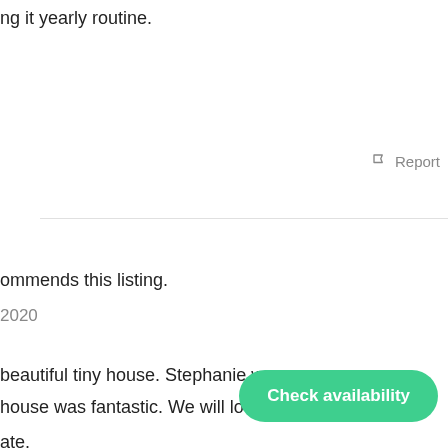ng it yearly routine.
Report
ommends this listing.
2020
beautiful tiny house. Stephanie was
house was fantastic. We will look to
ate.
Report
Check availability